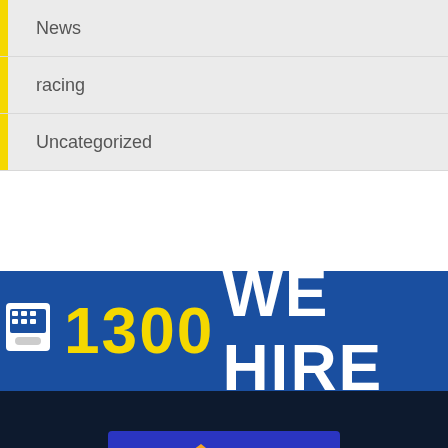News
racing
Uncategorized
[Figure (infographic): Blue banner with phone icon and text '1300 WE HIRE' in large bold font with yellow numbers]
[Figure (logo): Fill'er app logo on dark navy background - blue rectangle with fuel pump icon and 'fill'er app' text in white and orange]